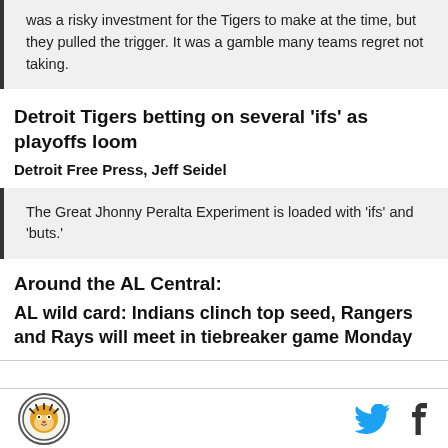was a risky investment for the Tigers to make at the time, but they pulled the trigger. It was a gamble many teams regret not taking.
Detroit Tigers betting on several 'ifs' as playoffs loom
Detroit Free Press, Jeff Seidel
The Great Jhonny Peralta Experiment is loaded with 'ifs' and 'buts.'
Around the AL Central:
AL wild card: Indians clinch top seed, Rangers and Rays will meet in tiebreaker game Monday
[Figure (logo): Detroit Tigers logo circle]
[Figure (illustration): Twitter bird icon and Facebook f icon]